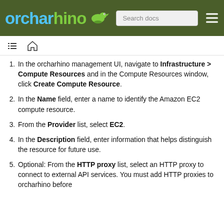orcharhino — Search docs
In the orcharhino management UI, navigate to Infrastructure > Compute Resources and in the Compute Resources window, click Create Compute Resource.
In the Name field, enter a name to identify the Amazon EC2 compute resource.
From the Provider list, select EC2.
In the Description field, enter information that helps distinguish the resource for future use.
Optional: From the HTTP proxy list, select an HTTP proxy to connect to external API services. You must add HTTP proxies to orcharhino before